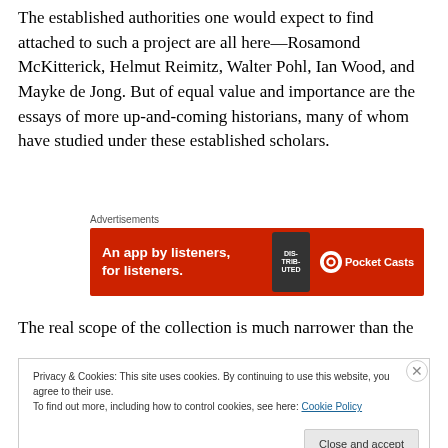The established authorities one would expect to find attached to such a project are all here—Rosamond McKitterick, Helmut Reimitz, Walter Pohl, Ian Wood, and Mayke de Jong. But of equal value and importance are the essays of more up-and-coming historians, many of whom have studied under these established scholars.
[Figure (infographic): Pocket Casts advertisement banner with text 'An app by listeners, for listeners.' on red background with phone image and Pocket Casts logo]
The real scope of the collection is much narrower than the
Privacy & Cookies: This site uses cookies. By continuing to use this website, you agree to their use.
To find out more, including how to control cookies, see here: Cookie Policy